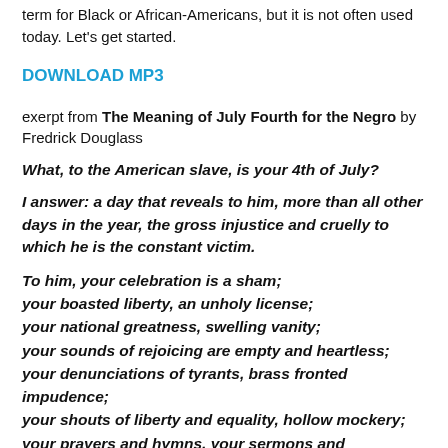term for Black or African-Americans, but it is not often used today. Let's get started.
DOWNLOAD MP3
exerpt from The Meaning of July Fourth for the Negro by Fredrick Douglass
What, to the American slave, is your 4th of July?
I answer: a day that reveals to him, more than all other days in the year, the gross injustice and cruelly to which he is the constant victim.
To him, your celebration is a sham;
your boasted liberty, an unholy license;
your national greatness, swelling vanity;
your sounds of rejoicing are empty and heartless;
your denunciations of tyrants, brass fronted impudence;
your shouts of liberty and equality, hollow mockery;
your prayers and hymns, your sermons and thanksgivings